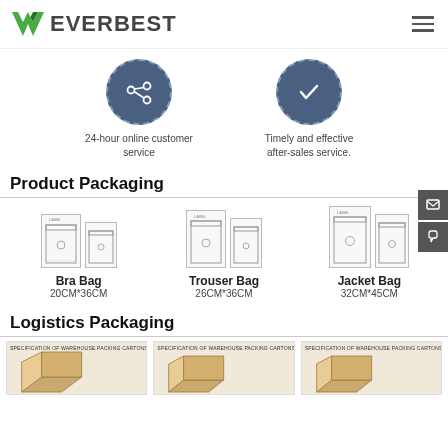[Figure (logo): Everbest logo with green checkmark-style V icon and dark text EVERBEST]
24-hour online customer service
Timely and effective after-sales service.
Product Packaging
[Figure (illustration): Three packaging bag diagrams: Bra Bag 20CM*36CM, Trouser Bag 26CM*36CM, Jacket Bag 32CM*45CM]
Bra Bag
20CM*36CM
Trouser Bag
26CM*36CM
Jacket Bag
32CM*45CM
Logistics Packaging
[Figure (photo): Three logistics carton box images with specifications labels]